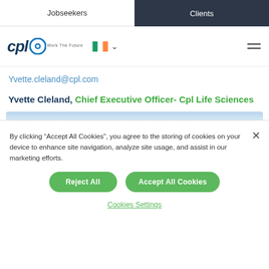Jobseekers | Clients
[Figure (logo): CPL logo with circular icon, Irish flag, dropdown arrow, and hamburger menu]
Yvette.cleland@cpl.com
Yvette Cleland, Chief Executive Officer- Cpl Life Sciences
By clicking “Accept All Cookies”, you agree to the storing of cookies on your device to enhance site navigation, analyze site usage, and assist in our marketing efforts.
Reject All | Accept All Cookies
Cookies Settings